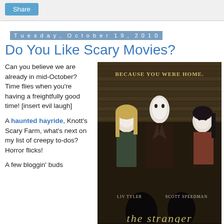Share
Tuesday, October 19, 2010
Do You Like Scary Movies?
Can you believe we are already in mid-October? Time flies when you're having a freightfully good time! [insert evil laugh]
A haunted hayride, Knott's Scary Farm, what's next on my list of creepy to-dos? Horror flicks!
A few bloggin' buds
[Figure (photo): Movie poster for 'The Strangers' featuring masked figures with text 'BECAUSE YOU WERE HOME.' and cast names LIV TYLER, SCOTT SPEEDMAN]